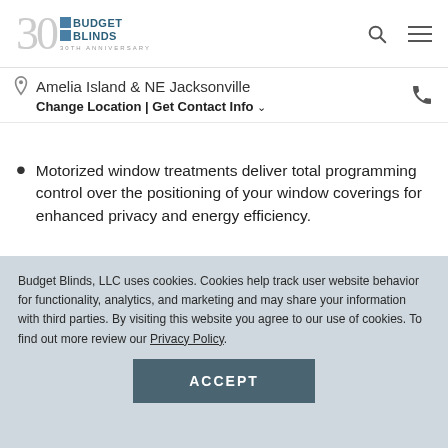Budget Blinds — 30th Anniversary logo, search and menu icons
Amelia Island & NE Jacksonville
Change Location | Get Contact Info
Motorized window treatments deliver total programming control over the positioning of your window coverings for enhanced privacy and energy efficiency.
Since they are cordless, motorized shades and blinds are child and pet friendly, and are available
Budget Blinds, LLC uses cookies. Cookies help track user website behavior for functionality, analytics, and marketing and may share your information with third parties. By visiting this website you agree to our use of cookies. To find out more review our Privacy Policy.
ACCEPT